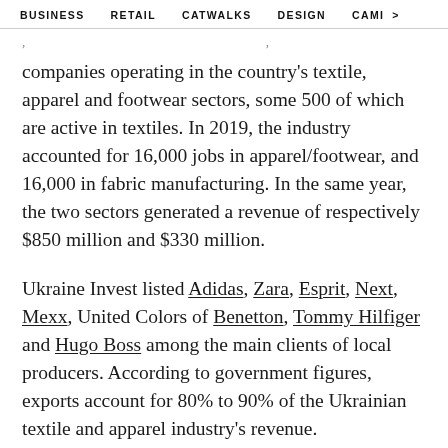BUSINESS   RETAIL   CATWALKS   DESIGN   CAMI  >
companies operating in the country's textile, apparel and footwear sectors, some 500 of which are active in textiles. In 2019, the industry accounted for 16,000 jobs in apparel/footwear, and 16,000 in fabric manufacturing. In the same year, the two sectors generated a revenue of respectively $850 million and $330 million.
Ukraine Invest listed Adidas, Zara, Esprit, Next, Mexx, United Colors of Benetton, Tommy Hilfiger and Hugo Boss among the main clients of local producers. According to government figures, exports account for 80% to 90% of the Ukrainian textile and apparel industry's revenue.